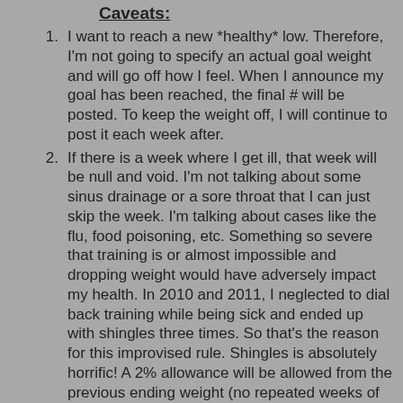Caveats:
I want to reach a new *healthy* low. Therefore, I'm not going to specify an actual goal weight and will go off how I feel. When I announce my goal has been reached, the final # will be posted. To keep the weight off, I will continue to post it each week after.
If there is a week where I get ill, that week will be null and void. I'm not talking about some sinus drainage or a sore throat that I can just skip the week. I'm talking about cases like the flu, food poisoning, etc. Something so severe that training is or almost impossible and dropping weight would have adversely impact my health. In 2010 and 2011, I neglected to dial back training while being sick and ended up with shingles three times. So that's the reason for this improvised rule. Shingles is absolutely horrific! A 2% allowance will be allowed from the previous ending weight (no repeated weeks of compounding 2% in the unlikely event that an illness last weeks).
As an athlete that tends to go hardcore, I have sustained some injuries over the past several years that will require surgery this year (currently in the process of getting surgery dates). So during those week(s) in which I have surgery and post on